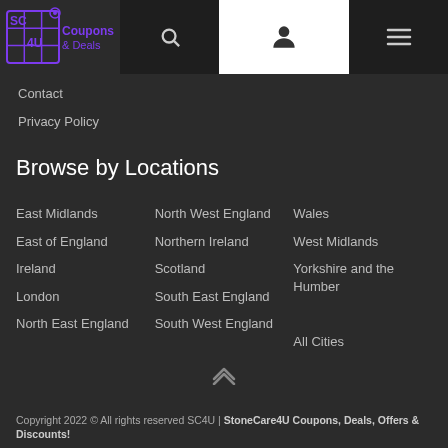[Figure (logo): SC4U Coupons & Deals logo with purple grid icon]
Contact
Privacy Policy
Browse by Locations
East Midlands
East of England
Ireland
London
North East England
North West England
Northern Ireland
Scotland
South East England
South West England
Wales
West Midlands
Yorkshire and the Humber
All Cities
Copyright 2022 © All rights reserved SC4U | StoneCare4U Coupons, Deals, Offers & Discounts!